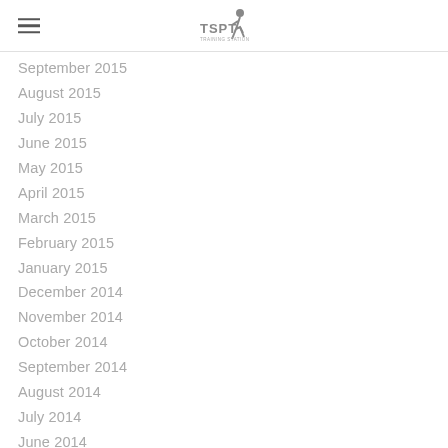TSPT logo and hamburger menu
September 2015
August 2015
July 2015
June 2015
May 2015
April 2015
March 2015
February 2015
January 2015
December 2014
November 2014
October 2014
September 2014
August 2014
July 2014
June 2014
May 2014
April 2014